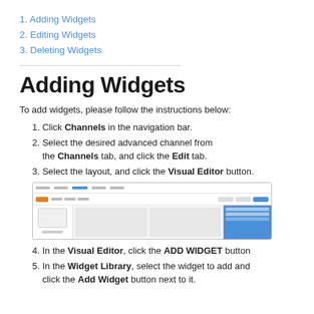1. Adding Widgets
2. Editing Widgets
3. Deleting Widgets
Adding Widgets
To add widgets, please follow the instructions below:
1. Click Channels in the navigation bar.
2. Select the desired advanced channel from the Channels tab, and click the Edit tab.
3. Select the layout, and click the Visual Editor button.
[Figure (screenshot): Screenshot of Visual Editor interface showing navigation toolbar, sidebar with layout options, main content columns, and a blue widget panel on the right.]
4. In the Visual Editor, click the ADD WIDGET button
5. In the Widget Library, select the widget to add and click the Add Widget button next to it.